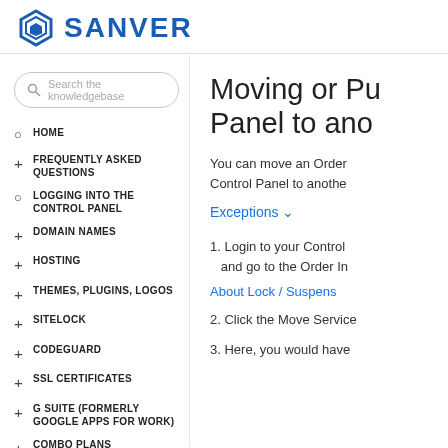SANVER
Search the knowledgebase
HOME
FREQUENTLY ASKED QUESTIONS
LOGGING INTO THE CONTROL PANEL
DOMAIN NAMES
HOSTING
THEMES, PLUGINS, LOGOS
SITELOCK
CODEGUARD
SSL CERTIFICATES
G SUITE (FORMERLY GOOGLE APPS FOR WORK)
COMBO PLANS
Moving or Pu Panel to ano
You can move an Order Control Panel to anothe
Exceptions ∨
1. Login to your Control and go to the Order In
About Lock / Suspens
2. Click the Move Service
3. Here, you would have